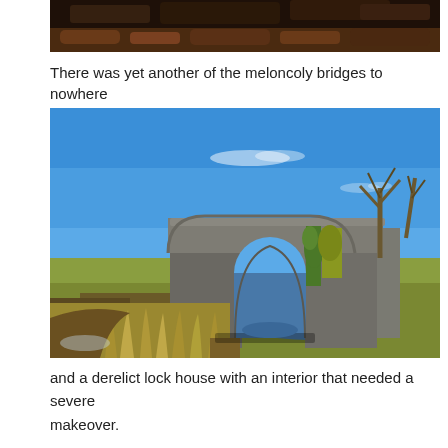[Figure (photo): Partial view of a dark landscape photo cropped at the top of the page, showing dark earth and reddish-brown vegetation.]
There was yet another of the meloncoly bridges to nowhere
[Figure (photo): A stone arch bridge standing alone in an open wetland landscape under a bright blue sky. The bridge is made of rough grey stone with a single large arch. Green and yellow marsh grasses surround a still waterway beneath the bridge. Bare trees visible on the right side.]
and a derelict lock house with an interior that needed a severe makeover.